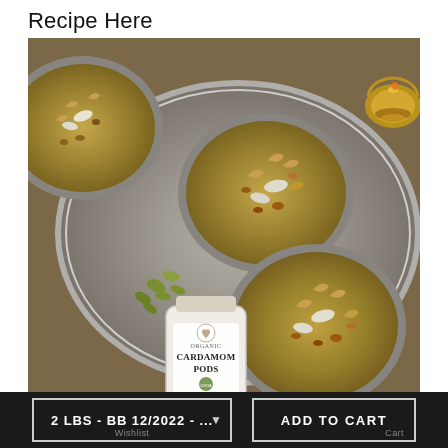Recipe Here
[Figure (photo): Overhead view of bowls of kheer/Indian dessert pudding garnished with cashews, coconut and dried fruits, on a silver tray with a jar of Organic Cardamom Pods (Whole) spice and loose cardamom pods scattered around. A decorative brass oil lamp is in the upper right corner.]
2 LBS - BB 12/2022 - ...
Wishlist
ADD TO CART
Cart